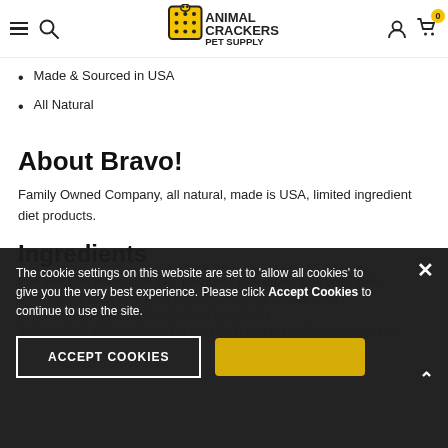Animal Crackers Pet Supply — navigation header with hamburger menu, search, logo, user icon, and cart (0)
Made & Sourced in USA
All Natural
About Bravo!
Family Owned Company, all natural, made is USA, limited ingredient diet products.
Ingredients
Partially visible ingredients text including: sage, dill, fennel, mixed tocopherols (preservative), zinc proteinate, iron proteinate, copper proteinate, manganese...
The cookie settings on this website are set to 'allow all cookies' to give you the very best experience. Please click Accept Cookies to continue to use the site.